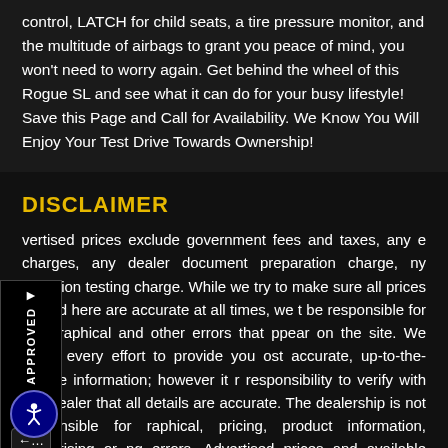control, LATCH for child seats, a tire pressure monitor, and the multitude of airbags to grant you peace of mind, you won't need to worry again. Get behind the wheel of this Rogue SL and see what it can do for your busy lifestyle! Save this Page and Call for Availability. We Know You Will Enjoy Your Test Drive Towards Ownership!
DISCLAIMER
vertised prices exclude government fees and taxes, any e charges, any dealer document preparation charge, ny emission testing charge. While we try to make sure all prices posted here are accurate at all times, we t be responsible for typographical and other errors that ppear on the site. We make every effort to provide you ost accurate, up-to-the-minute information; however it r responsibility to verify with the Dealer that all details are accurate. The dealership is not responsible for raphical, pricing, product information, advertising or ng errors. Advertised prices and available quantities bject to change without notice. All rates and offers are dependent on bank approval, which varies based on